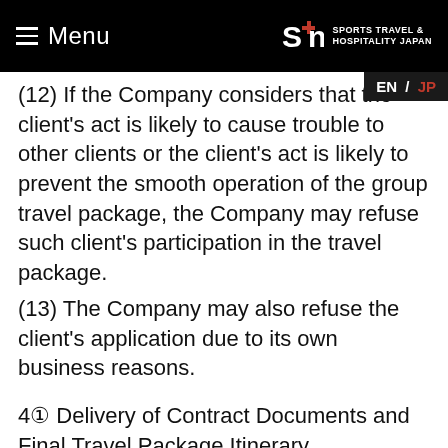Menu | SPORTS TRAVEL & HOSPITALITY JAPAN | EN / JP
(12) If the Company considers that the client's act is likely to cause trouble to other clients or the client's act is likely to prevent the smooth operation of the group travel package, the Company may refuse such client's participation in the travel package.
(13) The Company may also refuse the client's application due to its own business reasons.
4① Delivery of Contract Documents and Final Travel Package Itinerary
(1) The Company shall electronically deliver a